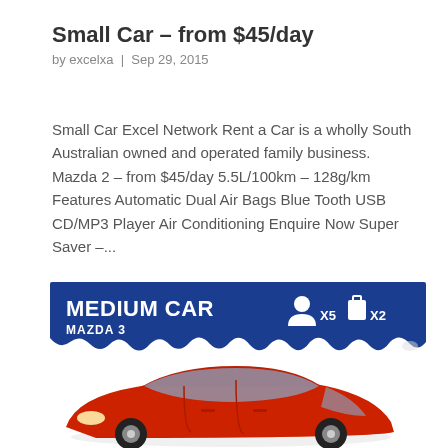Small Car – from $45/day
by excelxa | Sep 29, 2015
Small Car Excel Network Rent a Car is a wholly South Australian owned and operated family business. Mazda 2 – from $45/day 5.5L/100km – 128g/km Features Automatic Dual Air Bags Blue Tooth USB CD/MP3 Player Air Conditioning Enquire Now Super Saver –...
[Figure (infographic): Dark blue banner with white bold text reading MEDIUM CAR / MAZDA 3, with passenger (x5) and luggage (x2) icons on the right, torn paper effect at bottom]
[Figure (photo): Red Mazda 3 sedan shown from front-left angle on white background]